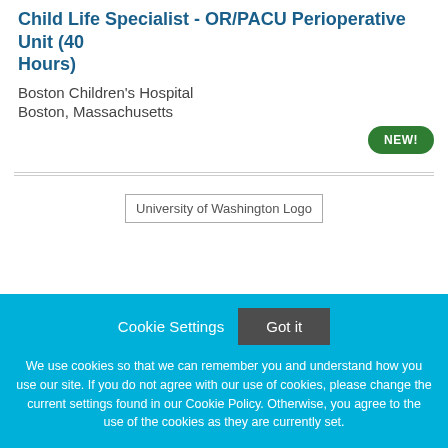Child Life Specialist - OR/PACU Perioperative Unit (40 Hours)
Boston Children's Hospital
Boston, Massachusetts
[Figure (logo): University of Washington Logo placeholder image]
Cookie Settings   Got it
We use cookies so that we can remember you and understand how you use our site. If you do not agree with our use of cookies, please change the current settings found in our Cookie Policy. Otherwise, you agree to the use of the cookies as they are currently set.